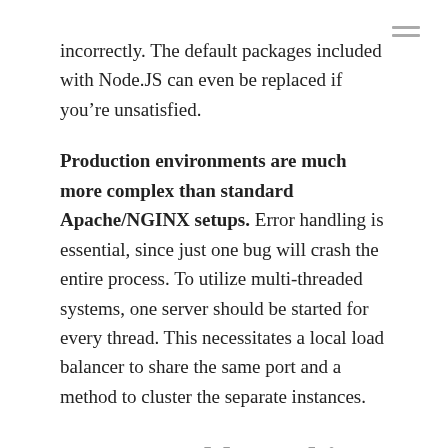incorrectly. The default packages included with Node.JS can even be replaced if you’re unsatisfied.
Production environments are much more complex than standard Apache/NGINX setups. Error handling is essential, since just one bug will crash the entire process. To utilize multi-threaded systems, one server should be started for every thread. This necessitates a local load balancer to share the same port and a method to cluster the separate instances.
Can we address this “event driven” thing?
This is best illustrated by analogy. Dan York has